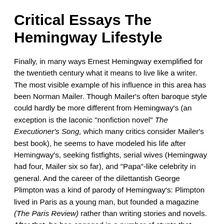Critical Essays The Hemingway Lifestyle
Finally, in many ways Ernest Hemingway exemplified for the twentieth century what it means to live like a writer. The most visible example of his influence in this area has been Norman Mailer. Though Mailer's often baroque style could hardly be more different from Hemingway's (an exception is the laconic "nonfiction novel" The Executioner's Song, which many critics consider Mailer's best book), he seems to have modeled his life after Hemingway's, seeking fistfights, serial wives (Hemingway had four, Mailer six so far), and "Papa"-like celebrity in general. And the career of the dilettantish George Plimpton was a kind of parody of Hemingway's: Plimpton lived in Paris as a young man, but founded a magazine (The Paris Review) rather than writing stories and novels. After that, he has engaged in a number of stunts that seemed